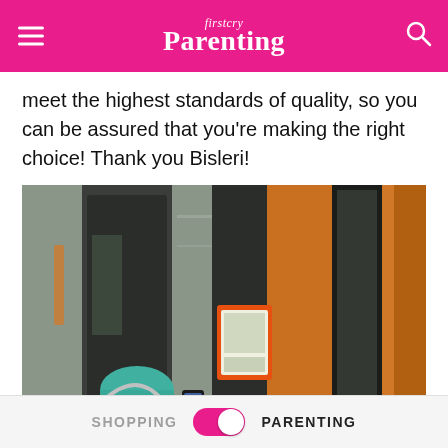firstcry Parenting
meet the highest standards of quality, so you can be assured that you're making the right choice! Thank you Bisleri!
[Figure (photo): A person wearing a teal hair net and headphones photographing industrial bottling/filling machinery with large metal columns and a display panel in what appears to be a Bisleri water plant facility.]
SHOPPING   PARENTING